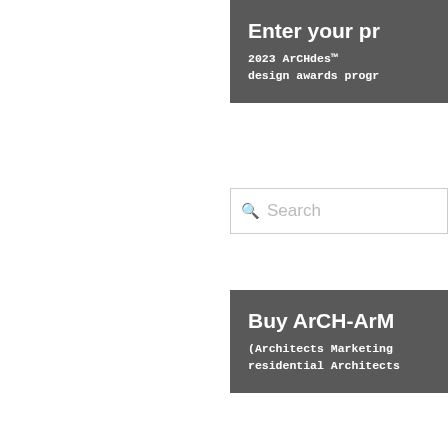[Figure (screenshot): Dark grey banner box in upper right with title 'Enter your pr' and subtitle '2023 ArCHdes™ design awards progr']
[Figure (screenshot): Search bar with magnifying glass icon and placeholder text 'Search']
[Figure (screenshot): Dark grey banner box in lower right with title 'Buy ArCH-ArM' and subtitle '(Architects Marketing residential Architects']